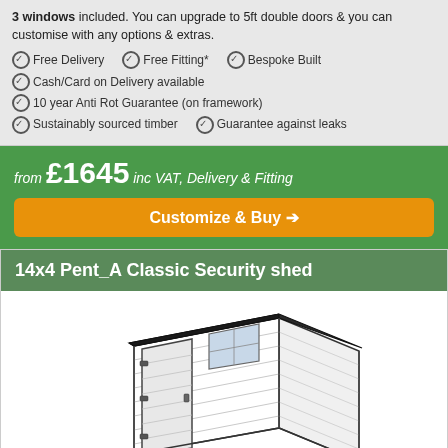3 windows included. You can upgrade to 5ft double doors & you can customise with any options & extras.
Free Delivery   Free Fitting*   Bespoke Built
Cash/Card on Delivery available
10 year Anti Rot Guarantee (on framework)
Sustainably sourced timber   Guarantee against leaks
from £1645 inc VAT, Delivery & Fitting
Customize & Buy
14x4 Pent_A Classic Security shed
[Figure (illustration): 3D illustration of a pent-roof security shed, showing horizontal timber cladding, dark roof felt, a door on the left side with hinges and a lock, and a small window on the front face.]